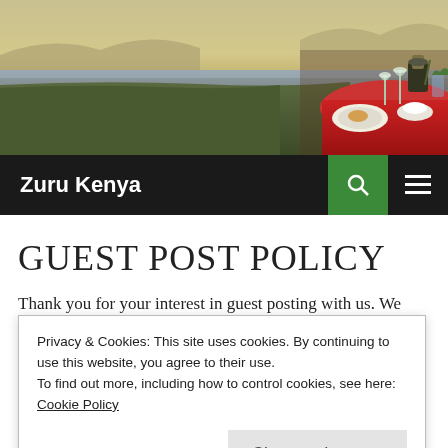[Figure (photo): Landscape photo showing a lake/river at dusk with a dining table set with champagne, food, and flowers in the foreground right side.]
Zuru Kenya
GUEST POST POLICY
Thank you for your interest in guest posting with us. We
Privacy & Cookies: This site uses cookies. By continuing to use this website, you agree to their use.
To find out more, including how to control cookies, see here: Cookie Policy
Close and accept